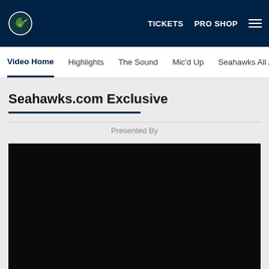TICKETS   PRO SHOP  [menu]
Video Home
Highlights
The Sound
Mic'd Up
Seahawks All Ac
Seahawks.com Exclusive
Presented By
[Figure (screenshot): Black video player area]